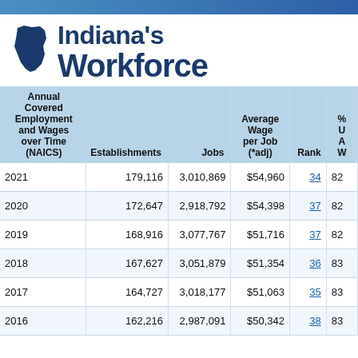Indiana's Workforce
| Annual Covered Employment and Wages over Time (NAICS) | Establishments | Jobs | Average Wage per Job (*adj) | Rank | % U A W |
| --- | --- | --- | --- | --- | --- |
| 2021 | 179,116 | 3,010,869 | $54,960 | 34 | 82 |
| 2020 | 172,647 | 2,918,792 | $54,398 | 37 | 82 |
| 2019 | 168,916 | 3,077,767 | $51,716 | 37 | 82 |
| 2018 | 167,627 | 3,051,879 | $51,354 | 36 | 83 |
| 2017 | 164,727 | 3,018,177 | $51,063 | 35 | 83 |
| 2016 | 162,216 | 2,987,091 | $50,342 | 38 | 83 |